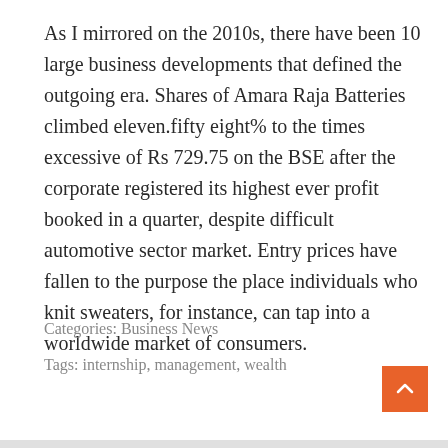As I mirrored on the 2010s, there have been 10 large business developments that defined the outgoing era. Shares of Amara Raja Batteries climbed eleven.fifty eight% to the times excessive of Rs 729.75 on the BSE after the corporate registered its highest ever profit booked in a quarter, despite difficult automotive sector market. Entry prices have fallen to the purpose the place individuals who knit sweaters, for instance, can tap into a worldwide market of consumers.
Categories: Business News
Tags: internship, management, wealth